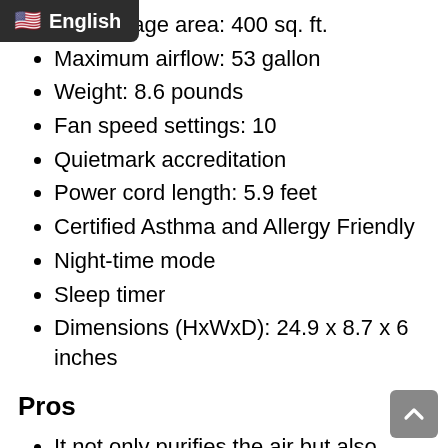m coverage area: 400 sq. ft.
Maximum airflow: 53 gallon
Weight: 8.6 pounds
Fan speed settings: 10
Quietmark accreditation
Power cord length: 5.9 feet
Certified Asthma and Allergy Friendly
Night-time mode
Sleep timer
Dimensions (HxWxD): 24.9 x 8.7 x 6 inches
Pros
It not only purifies the air but also supplies purified cool or hot air as per your needs